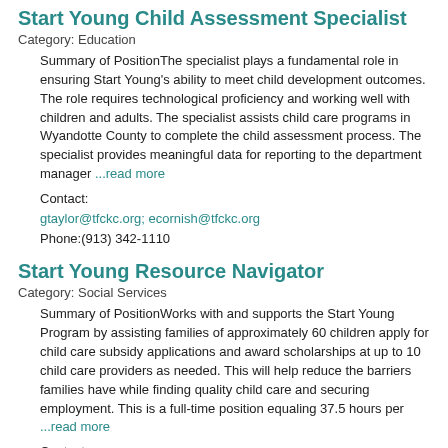Start Young Child Assessment Specialist
Category: Education
Summary of PositionThe specialist plays a fundamental role in ensuring Start Young's ability to meet child development outcomes. The role requires technological proficiency and working well with children and adults. The specialist assists child care programs in Wyandotte County to complete the child assessment process. The specialist provides meaningful data for reporting to the department manager ...read more
Contact:
gtaylor@tfckc.org; ecornish@tfckc.org
Phone:(913) 342-1110
Start Young Resource Navigator
Category: Social Services
Summary of PositionWorks with and supports the Start Young Program by assisting families of approximately 60 children apply for child care subsidy applications and award scholarships at up to 10 child care providers as needed. This will help reduce the barriers families have while finding quality child care and securing employment. This is a full-time position equaling 37.5 hours per ...read more
Contact:
gtaylor@tfckc.org; ecornish@tfckc.org
Phone:(913) 342-1110
Vice President of Administration & Finance